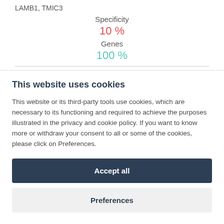LAMB1, TMIC3
Specificity
10 %
Genes
100 %
This website uses cookies
This website or its third-party tools use cookies, which are necessary to its functioning and required to achieve the purposes illustrated in the privacy and cookie policy. If you want to know more or withdraw your consent to all or some of the cookies, please click on Preferences.
Accept all
Preferences